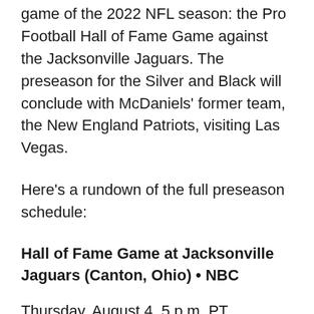game of the 2022 NFL season: the Pro Football Hall of Fame Game against the Jacksonville Jaguars. The preseason for the Silver and Black will conclude with McDaniels' former team, the New England Patriots, visiting Las Vegas.
Here's a rundown of the full preseason schedule:
Hall of Fame Game at Jacksonville Jaguars (Canton, Ohio) • NBC
Thursday, August 4, 5 p.m. PT
Jaguars' 2021 record: 3-14
Finished fourth in the AFC South